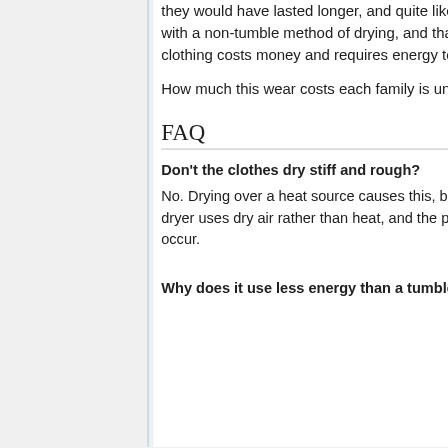they would have lasted longer, and quite likely a lot longer, with a non-tumble method of drying, and that loss of clothing costs money and requires energy to replace.
How much this wear costs each family is unknown.
FAQ
Don't the clothes dry stiff and rough?
No. Drying over a heat source causes this, but the closet dryer uses dry air rather than heat, and the problem doesn't occur.
Why does it use less energy than a tumble dryer?